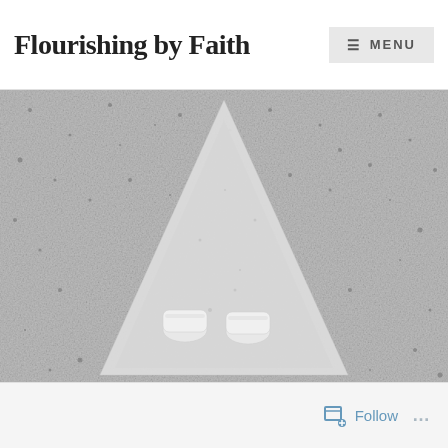Flourishing by Faith
[Figure (photo): Top-down view of a person standing in white sneakers at the base of a large white painted triangle/arrow on a grey speckled concrete surface, looking upward along the arrow's direction.]
Follow ...